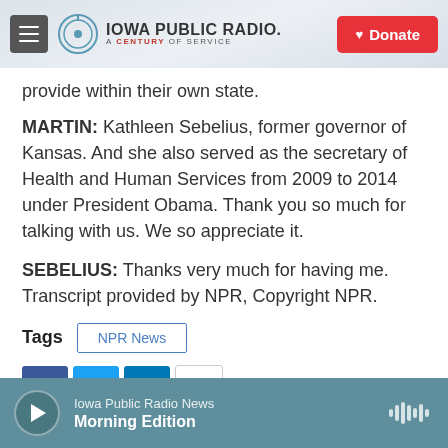Iowa Public Radio. A Century of Service. Donate.
provide within their own state.
MARTIN: Kathleen Sebelius, former governor of Kansas. And she also served as the secretary of Health and Human Services from 2009 to 2014 under President Obama. Thank you so much for talking with us. We so appreciate it.
SEBELIUS: Thanks very much for having me. Transcript provided by NPR, Copyright NPR.
Tags  NPR News
Iowa Public Radio News  Morning Edition